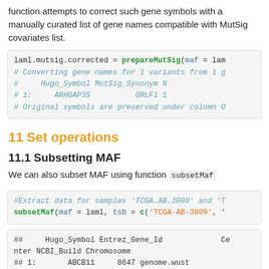function attempts to correct such gene symbols with a manually curated list of gene names compatible with MutSig covariates list.
[Figure (screenshot): Code block showing: laml.mutsig.corrected = prepareMutSig(maf = lam... # Converting gene names for 1 variants from 1 g... # Hugo_Symbol MutSig_Synonym N # 1: ARHGAP35 GRLF1 1 # Original symbols are preserved under column O...]
11 Set operations
11.1 Subsetting MAF
We can also subset MAF using function subsetMaf
[Figure (screenshot): Code block showing: #Extract data for samples 'TCGA.AB.3009' and 'T... subsetMaf(maf = laml, tsb = c('TCGA-AB-3009', '...]
[Figure (screenshot): Code block showing: ## Hugo_Symbol Entrez_Gene_Id Ce nter NCBI_Build Chromosome ## 1: ABCB11 8647 genome.wust...]